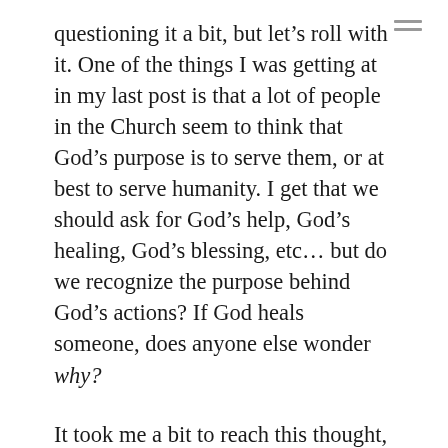questioning it a bit, but let's roll with it. One of the things I was getting at in my last post is that a lot of people in the Church seem to think that God's purpose is to serve them, or at best to serve humanity. I get that we should ask for God's help, God's healing, God's blessing, etc... but do we recognize the purpose behind God's actions? If God heals someone, does anyone else wonder why?
It took me a bit to reach this thought, but Adam's reply gets at what I'm going for. Essentially, I'm calling into question our definition of Good. I'll be honest, I'm not entirely certain who I mean by "our" in that sentence. Partially, I mean humanity in general, but I loathe over-generalization and that's too far for me. If I